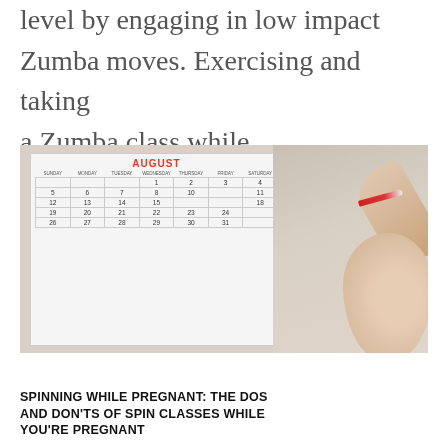level by engaging in low impact Zumba moves. Exercising and taking a Zumba class while...
[Figure (photo): A pregnant woman marking dates on an August wall calendar with a red pen. The calendar shows an August month view with numbered days. The woman's pregnant belly is visible on the right side of the image.]
SPINNING WHILE PREGNANT: THE DOS AND DON'TS OF SPIN CLASSES WHILE YOU'RE PREGNANT